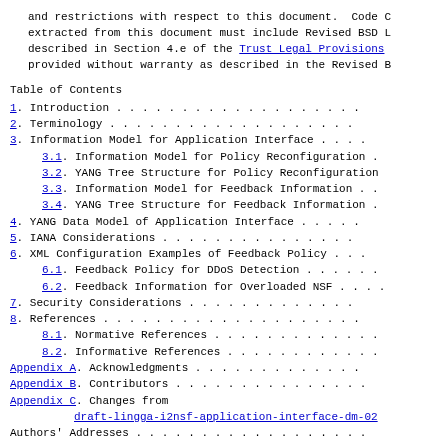and restrictions with respect to this document.  Code C extracted from this document must include Revised BSD L described in Section 4.e of the Trust Legal Provisions provided without warranty as described in the Revised B
Table of Contents
1.  Introduction . . . . . . . . . . . . . . . . . . .
2.  Terminology . . . . . . . . . . . . . . . . . . .
3.  Information Model for Application Interface . . . .
3.1.  Information Model for Policy Reconfiguration .
3.2.  YANG Tree Structure for Policy Reconfiguration
3.3.  Information Model for Feedback Information . .
3.4.  YANG Tree Structure for Feedback Information .
4.  YANG Data Model of Application Interface . . . . .
5.  IANA Considerations . . . . . . . . . . . . . . .
6.  XML Configuration Examples of Feedback Policy . . .
6.1.  Feedback Policy for DDoS Detection . . . . .
6.2.  Feedback Information for Overloaded NSF . . .
7.  Security Considerations . . . . . . . . . . . . .
8.  References . . . . . . . . . . . . . . . . . . .
8.1.  Normative References . . . . . . . . . . . .
8.2.  Informative References . . . . . . . . . . .
Appendix A.  Acknowledgments . . . . . . . . . . . . .
Appendix B.  Contributors . . . . . . . . . . . . . .
Appendix C.  Changes from draft-lingga-i2nsf-application-interface-dm-02
Authors' Addresses . . . . . . . . . . . . . . . . .